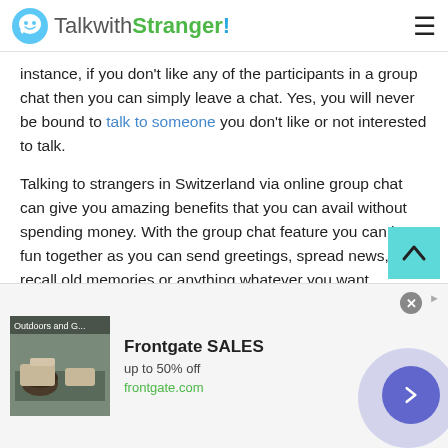TalkwithStranger!
instance, if you don't like any of the participants in a group chat then you can simply leave a chat. Yes, you will never be bound to talk to someone you don't like or not interested to talk.
Talking to strangers in Switzerland via online group chat can give you amazing benefits that you can avail without spending money. With the group chat feature you can have fun together as you can send greetings, spread news, recall old memories or anything whatever you want.
[Figure (screenshot): Advertisement banner: Frontgate SALES up to 50% off - frontgate.com, with outdoor furniture image and navigation arrow button]